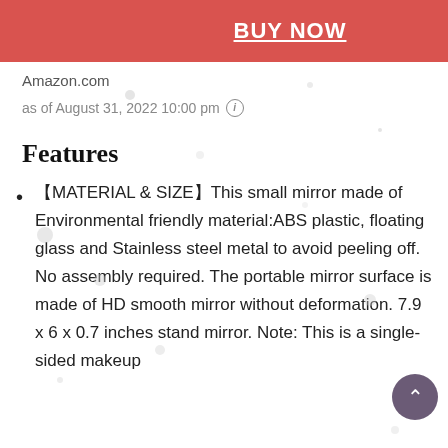[Figure (other): Red BUY NOW button with white underlined bold text]
Amazon.com
as of August 31, 2022 10:00 pm ⓘ
Features
【MATERIAL & SIZE】This small mirror made of Environmental friendly material:ABS plastic, floating glass and Stainless steel metal to avoid peeling off. No assembly required. The portable mirror surface is made of HD smooth mirror without deformation. 7.9 x 6 x 0.7 inches stand mirror. Note: This is a single-sided makeup mirror